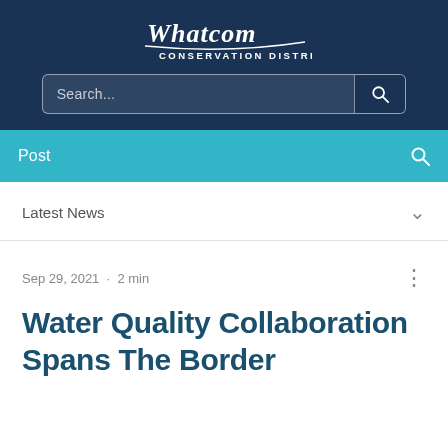[Figure (logo): Whatcom Conservation District logo — stylized cursive 'Whatcom' text above 'CONSERVATION DISTRICT' in white on dark navy background]
Search...
Post
Latest News
Sep 29, 2021  ·  2 min
Water Quality Collaboration Spans The Border